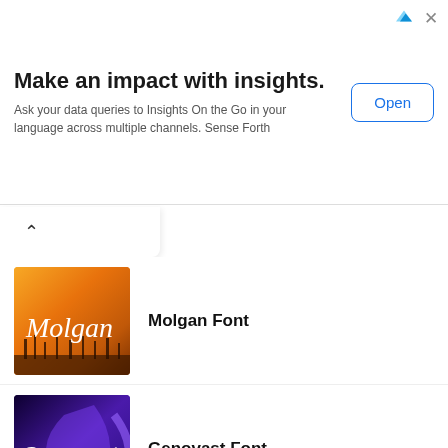[Figure (screenshot): Advertisement banner: 'Make an impact with insights.' with subtitle and Open button]
Molgan Font
[Figure (illustration): Molgan font thumbnail - orange gradient background with white italic Molgan text]
Genovast Font
[Figure (illustration): Genovast font thumbnail - purple/dark blue gradient with bold italic white Genovast text]
Caslon Doric Font Family
[Figure (illustration): Caslon Doric font thumbnail - orange background with white box showing 'Caslon Doric' in serif font with purple border]
ADER Font
[Figure (illustration): ADER font thumbnail - black background with grey rounded rectangle showing ADER text]